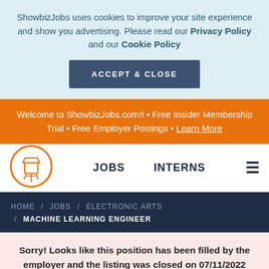ShowbizJobs uses cookies to improve your site experience and show you advertising. Please read our Privacy Policy and our Cookie Policy
ACCEPT & CLOSE
Welcome to ShowbizJobs.com!! • Free Insider Membership Trial • Free Employer Postings • Learn More
[Figure (logo): ShowbizJobs water tower logo in orange circle]
JOBS    INTERNS
HOME / JOBS / ELECTRONIC ARTS / MACHINE LEARNING ENGINEER
Sorry! Looks like this position has been filled by the employer and the listing was closed on 07/11/2022